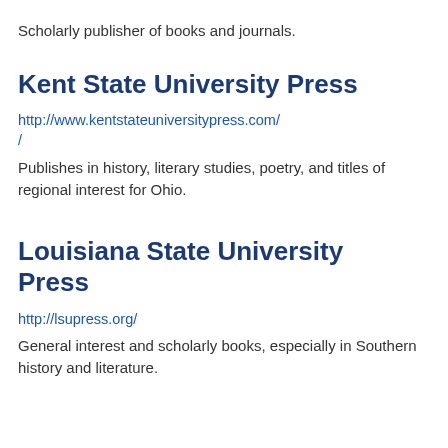Scholarly publisher of books and journals.
Kent State University Press
http://www.kentstateuniversitypress.com/
Publishes in history, literary studies, poetry, and titles of regional interest for Ohio.
Louisiana State University Press
http://lsupress.org/
General interest and scholarly books, especially in Southern history and literature.